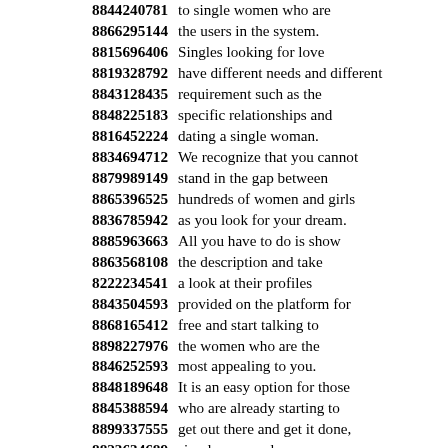8844240781 to single women who are
8866295144 the users in the system.
8815696406 Singles looking for love
8819328792 have different needs and different
8843128435 requirement such as the
8848225183 specific relationships and
8816452224 dating a single woman.
8834694712 We recognize that you cannot
8879989149 stand in the gap between
8865396525 hundreds of women and girls
8836785942 as you look for your dream.
8885963663 All you have to do is show
8863568108 the description and take
8222234541 a look at their profiles
8843504593 provided on the platform for
8868165412 free and start talking to
8898227976 the women who are the
8846252593 most appealing to you.
8848189648 It is an easy option for those
8845388594 who are already starting to
8899337555 get out there and get it done,
8823634689 simple men and women.
8847812379 Why would a beautiful girl
8820351574 want to leave her country
8886674422 and find a husband for herself?
8833330786 We assure you that we have